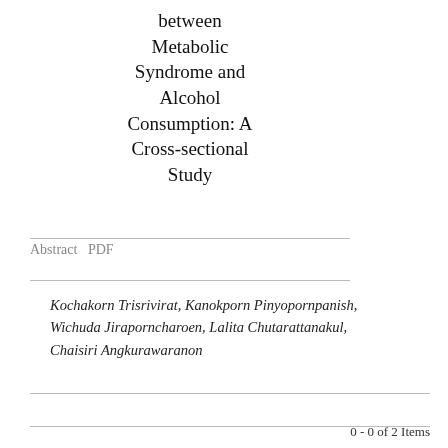between Metabolic Syndrome and Alcohol Consumption: A Cross-sectional Study
Abstract  PDF
Kochakorn Trisrivirat, Kanokporn Pinyopornpanish, Wichuda Jiraporncharoen, Lalita Chutarattanakul, Chaisiri Angkurawaranon
0 - 0 of 2 Items